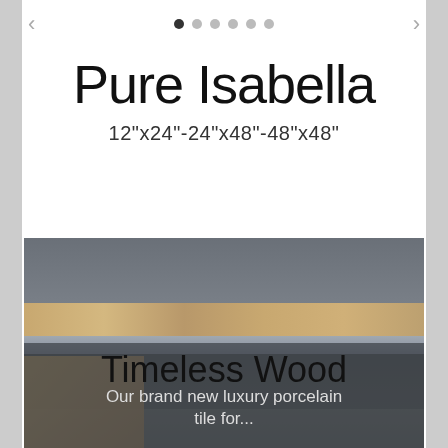< ● ● ● ● ● ● >
Pure Isabella
12"x24"-24"x48"-48"x48"
[Figure (photo): Modern kitchen interior with dark grey cabinets, wood backsplash, pendant lights, and kitchen island. Text overlay reads 'Timeless Wood' with subtitle 'Our brand new luxury porcelain tile for...']
Timeless Wood
Our brand new luxury porcelain tile for...